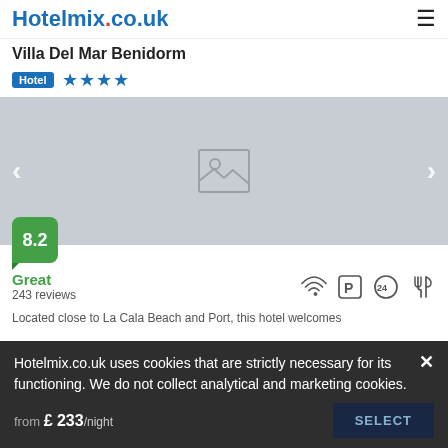Hotelmix.co.uk
Villa Del Mar Benidorm
Hotel ★★★★
[Figure (photo): Hotel image placeholder with navigation arrows and score badge 8.2]
Great
243 reviews
Located close to La Cala Beach and Port, this hotel welcomes
Hotelmix.co.uk uses cookies that are strictly necessary for its functioning. We do not collect analytical and marketing cookies.
from £ 233/night
SELECT